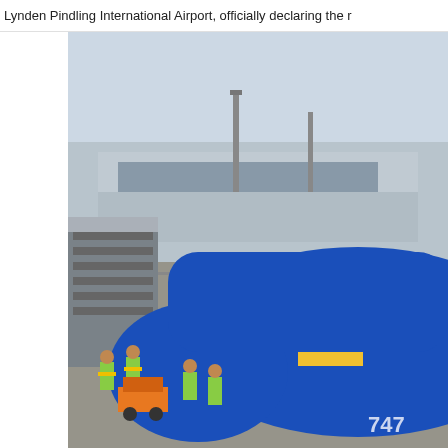Lynden Pindling International Airport, officially declaring the r
[Figure (photo): A pilot leans out from the cockpit window of a blue commercial aircraft (Boeing 747) holding a Bahamas flag, while ground crew in yellow safety vests stand near boarding stairs at Lynden Pindling International Airport.]